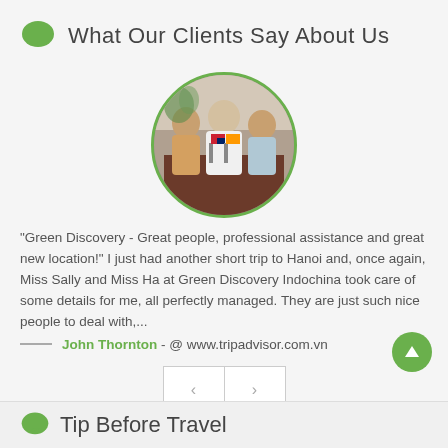What Our Clients Say About Us
[Figure (photo): Circular photo of three people seated together, holding small flags, in an office or restaurant setting]
“Green Discovery - Great people, professional assistance and great new location!” I just had another short trip to Hanoi and, once again, Miss Sally and Miss Ha at Green Discovery Indochina took care of some details for me, all perfectly managed. They are just such nice people to deal with,...
John Thornton - @ www.tripadvisor.com.vn
Tip Before Travel